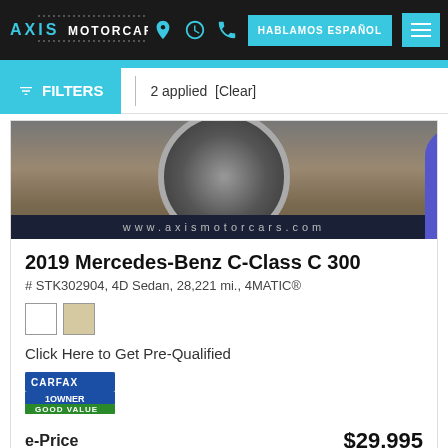AXIS MOTORCARS — HABLAMOS ESPAÑOL
FILTERS | 2 applied [Clear]
[Figure (photo): Partial view of a vehicle with chrome wheel and dark background. Bottom banner reads: www.axismotorcars.com]
2019 Mercedes-Benz C-Class C 300
# STK302904, 4D Sedan, 28,221 mi., 4MATIC®
Click Here to Get Pre-Qualified
[Figure (logo): CARFAX 1 Owner Good Value badge]
e-Price $29,995
GREAT DEAL